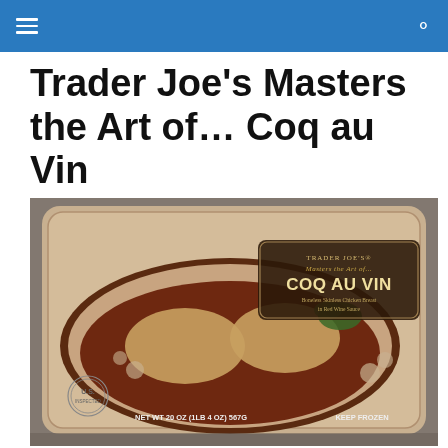≡  🔍
Trader Joe's Masters the Art of… Coq au Vin
[Figure (photo): Trader Joe's frozen food package of Coq au Vin — Boneless Skinless Chicken Breast in Red Wine Sauce. NET WT 20 OZ (1LB 4 OZ) 567G. KEEP FROZEN. Package shown on granite countertop.]